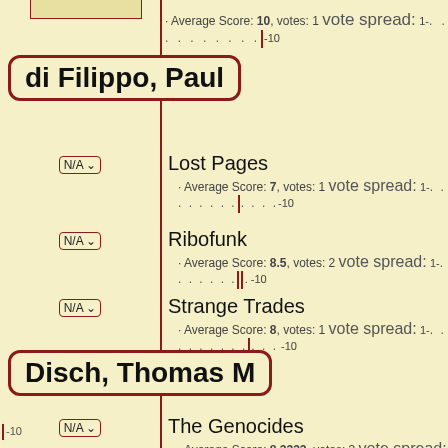· Average Score: 10, votes: 1 vote spread: 1- .......... -10
di Filippo, Paul
Lost Pages · Average Score: 7, votes: 1 vote spread: 1- ........ -10
Ribofunk · Average Score: 8.5, votes: 2 vote spread: 1- ....... -10
Strange Trades · Average Score: 8, votes: 1 vote spread: 1- ......... -10
Disch, Thomas M
The Genocides · Average Score: 8.3333, votes: 3 vote spread: 1- ....... -10